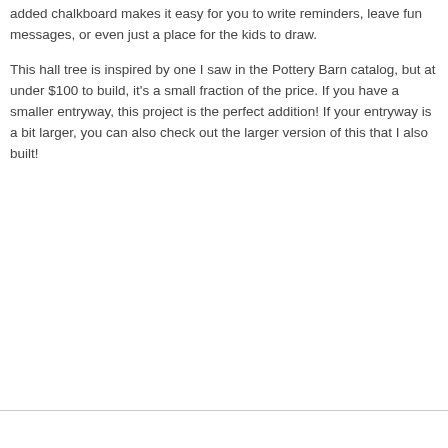added chalkboard makes it easy for you to write reminders, leave fun messages, or even just a place for the kids to draw.
This hall tree is inspired by one I saw in the Pottery Barn catalog, but at under $100 to build, it's a small fraction of the price. If you have a smaller entryway, this project is the perfect addition! If your entryway is a bit larger, you can also check out the larger version of this that I also built!